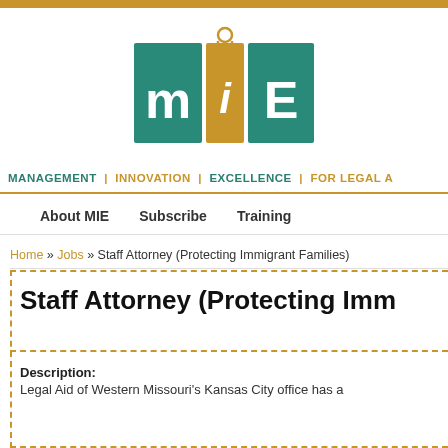[Figure (logo): MIE logo — teal square with 'm', gold square with 'i' tag, teal square with 'E' lettering]
MANAGEMENT | INNOVATION | EXCELLENCE | FOR LEGAL A
About MIE   Subscribe   Training
Home » Jobs » Staff Attorney (Protecting Immigrant Families)
Staff Attorney (Protecting Imm
Description:
Legal Aid of Western Missouri's Kansas City office has a